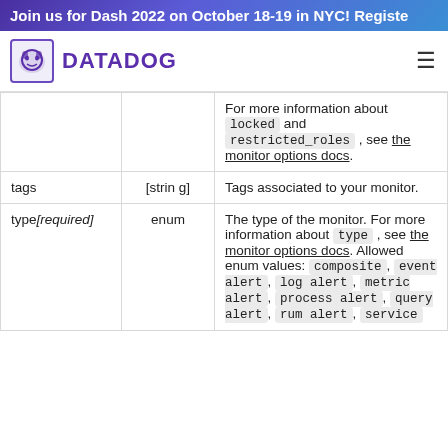Join us for Dash 2022 on October 18-19 in NYC! Register
[Figure (logo): Datadog logo with dog icon and DATADOG text in purple]
|  |  |  |
| --- | --- | --- |
|  |  | For more information about locked and restricted_roles , see the monitor options docs. |
| tags | [string] | Tags associated to your monitor. |
| type[required] | enum | The type of the monitor. For more information about type , see the monitor options docs. Allowed enum values: composite, event alert, log alert, metric alert, process alert, query alert, rum alert, service |